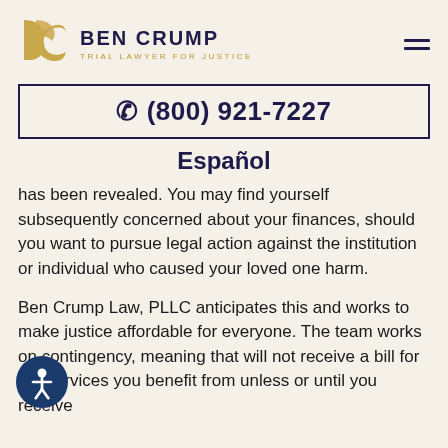[Figure (logo): Ben Crump Trial Lawyer for Justice law firm logo with stylized BC monogram in gold and firm name in dark navy]
(800) 921-7227
Español
has been revealed. You may find yourself subsequently concerned about your finances, should you want to pursue legal action against the institution or individual who caused your loved one harm.
Ben Crump Law, PLLC anticipates this and works to make justice affordable for everyone. The team works on contingency, meaning that will not receive a bill for the services you benefit from unless or until you receive